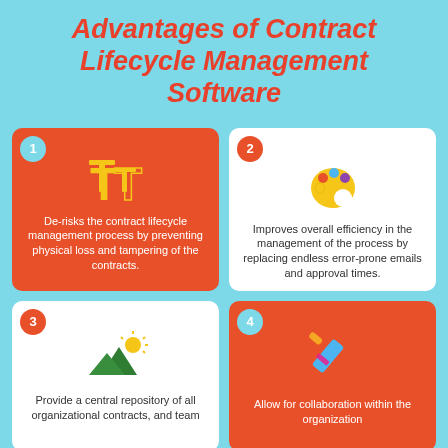Advantages of Contract Lifecycle Management Software
1. De-risks the contract lifecycle management process by preventing physical loss and tampering of the contracts.
2. Improves overall efficiency in the management of the process by replacing endless error-prone emails and approval times.
3. Provide a central repository of all organizational contracts, and team
4. Allow for collaboration within the organization